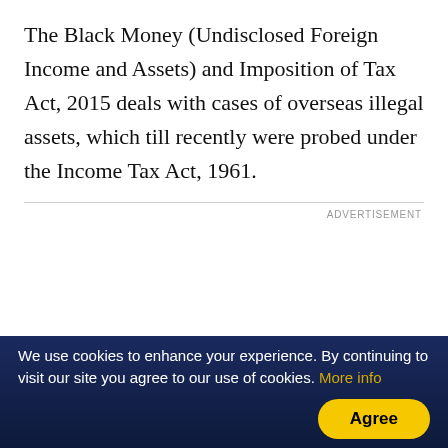The Black Money (Undisclosed Foreign Income and Assets) and Imposition of Tax Act, 2015 deals with cases of overseas illegal assets, which till recently were probed under the Income Tax Act, 1961.
ADVERTISEMENT
We use cookies to enhance your experience. By continuing to visit our site you agree to our use of cookies. More info [Agree]